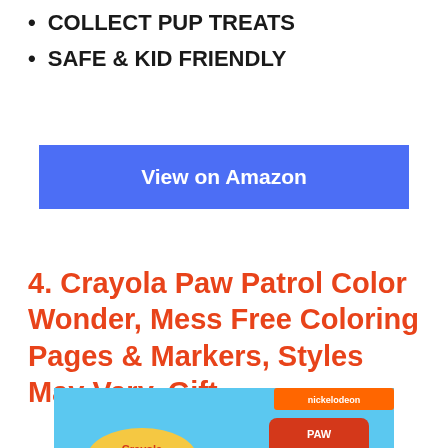COLLECT PUP TREATS
SAFE & KID FRIENDLY
View on Amazon
4. Crayola Paw Patrol Color Wonder, Mess Free Coloring Pages & Markers, Styles May Vary, Gift
[Figure (photo): Crayola Color Wonder Mess Free Coloring Paw Patrol product package showing Skye and Chase characters with Nickelodeon branding]